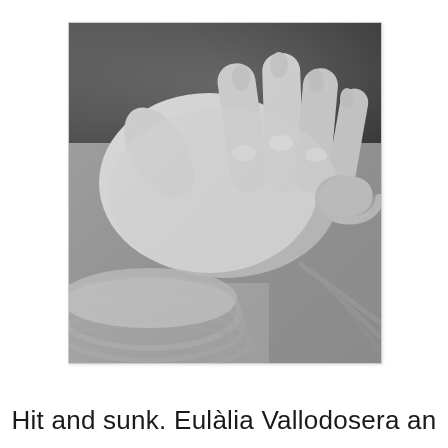[Figure (photo): Close-up photograph of white clay-covered hands working on a pottery wheel, shaping a coiled piece of clay. The scene is monochromatic with white-grey tones, showing detailed finger texture and a spiral clay form.]
Hit and sunk. Eulàlia Vallodosera an